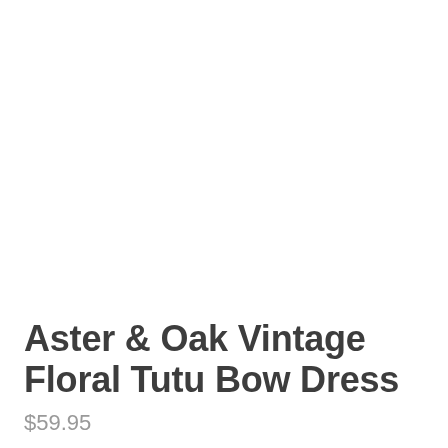[Figure (photo): Product image area (blank/white) for Aster & Oak Vintage Floral Tutu Bow Dress]
Aster & Oak Vintage Floral Tutu Bow Dress
$59.95